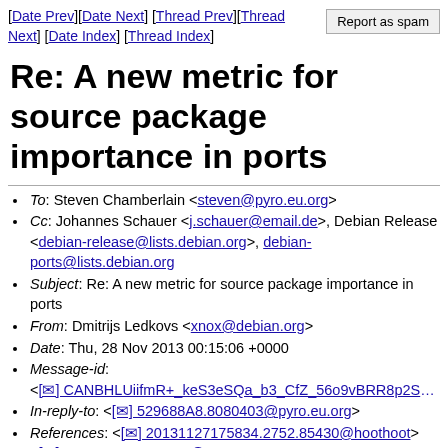[Date Prev][Date Next] [Thread Prev][Thread Next] [Date Index] [Thread Index]
Re: A new metric for source package importance in ports
To: Steven Chamberlain <steven@pyro.eu.org>
Cc: Johannes Schauer <j.schauer@email.de>, Debian Release <debian-release@lists.debian.org>, debian-ports@lists.debian.org
Subject: Re: A new metric for source package importance in ports
From: Dmitrijs Ledkovs <xnox@debian.org>
Date: Thu, 28 Nov 2013 00:15:06 +0000
Message-id: <[✉] CANBHLUiifmR+ keS3eSQa b3 CfZ 56o9vBRR8p2S…
In-reply-to: <[✉] 529688A8.8080403@pyro.eu.org>
References: <[✉] 20131127175834.2752.85430@hoothoot> <[✉] 529688A8.8080403@pyro.eu.org>